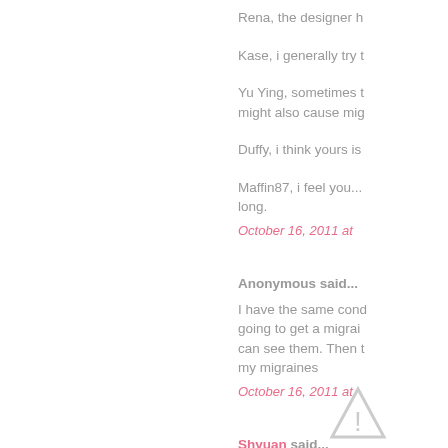Rena, the designer h
Kase, i generally try t
Yu Ying, sometimes t might also cause mig
Duffy, i think yours is
Maffin87, i feel you... long.
October 16, 2011 at
Anonymous said...
I have the same cond going to get a migrai can see them. Then t my migraines
October 16, 2011 at
Shyuan said...
I dont really understa stiff neck n shoulder